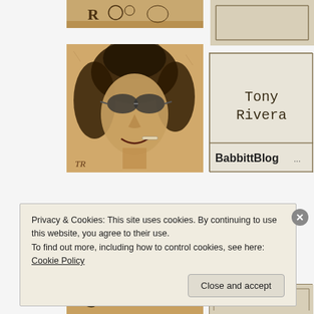[Figure (illustration): Sepia-toned etching artwork, partial view at top left, shows decorative elements with 'R' letter visible]
[Figure (illustration): Sepia-toned etching of a smiling woman with curly hair and sunglasses, signed 'TR' at bottom left]
Tony Rivera
BabbittBlog
[Figure (illustration): Partial sepia-toned illustration visible at bottom, cropped]
Privacy & Cookies: This site uses cookies. By continuing to use this website, you agree to their use.
To find out more, including how to control cookies, see here: Cookie Policy
Close and accept